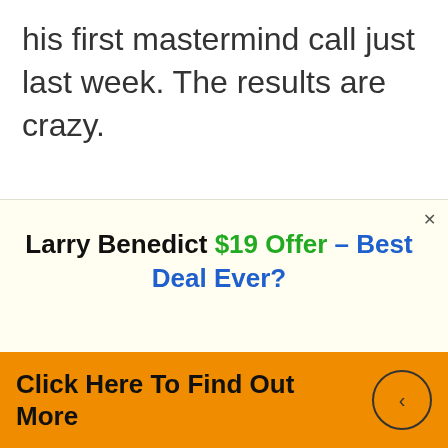his first mastermind call just last week. The results are crazy.
If you're still not part of the KBB family do yourself a favor and Click Here to get the course
Larry Benedict $19 Offer – Best Deal Ever?
Click Here To Find Out More